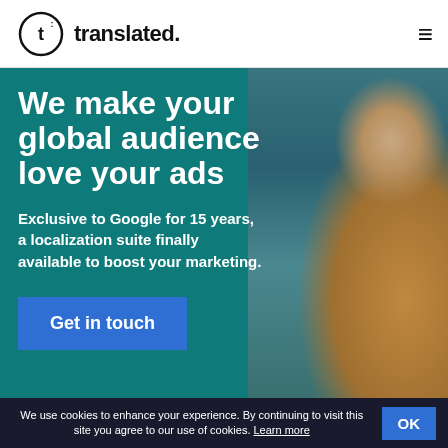[Figure (logo): Translated logo: circle with letter t inside, followed by 'translated.' text]
We make your global audience love your ads
Exclusive to Google for 15 years, a localization suite finally available to boost your marketing.
[Figure (photo): Woman in mustard/orange sweater sitting at laptop, looking upward thoughtfully, on teal background]
Get in touch
We use cookies to enhance your experience. By continuing to visit this site you agree to our use of cookies. Learn more